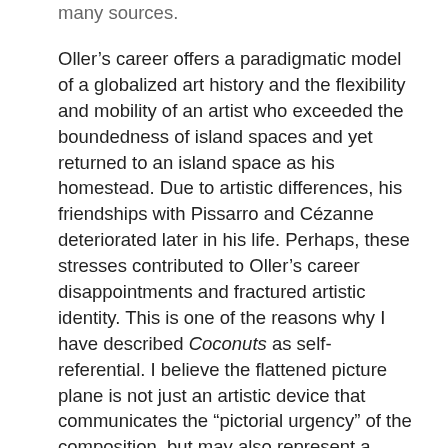Oller’s career offers a paradigmatic model of a globalized art history and the flexibility and mobility of an artist who exceeded the boundedness of island spaces and yet returned to an island space as his homestead. Due to artistic differences, his friendships with Pissarro and Cézanne deteriorated later in his life. Perhaps, these stresses contributed to Oller’s career disappointments and fractured artistic identity. This is one of the reasons why I have described Coconuts as self-referential. I believe the flattened picture plane is not just an artistic device that communicates the “pictorial urgency” of the composition, but may also represent a flattened uprootedness communicating a kind of “existential urgency” of a man seeking the reconciliation of his artistic self-identity. Oller’s Coconuts draws attention to the free-floating movement of the rooted structure as an expression of boundless energy